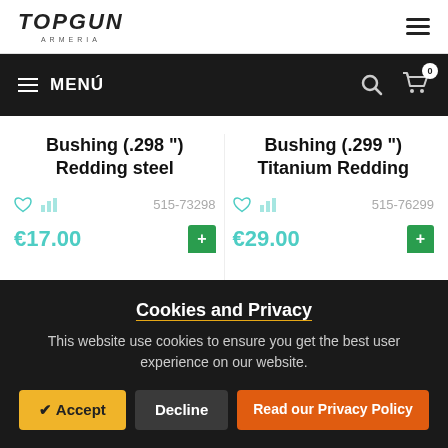TOPGUN ARMERIA
MENÚ
Bushing (.298 ") Redding steel
515-73298
€17.00
Bushing (.299 ") Titanium Redding
515-76299
€29.00
Cookies and Privacy
This website use cookies to ensure you get the best user experience on our website.
✔ Accept
Decline
Read our Privacy Policy